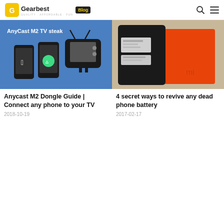Gearbest Blog
[Figure (screenshot): AnyCast M2 TV steak promotional image showing two smartphones and a retro TV icon on blue background]
Anycast M2 Dongle Guide | Connect any phone to your TV
2018-10-19
[Figure (photo): Photo of Xiaomi phone batteries, showing a black battery and an orange battery on a wooden surface]
4 secret ways to revive any dead phone battery
2017-02-17